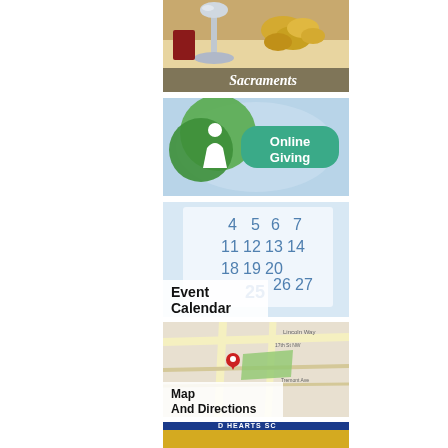[Figure (photo): Sacraments banner image showing silver chalice and golden coins/vessels on a table, with 'Sacraments' text overlay at bottom right]
[Figure (illustration): Online Giving banner with green leaf/person logo and teal rounded rectangle button reading 'Online Giving' in white text on a light blue background]
[Figure (photo): Event Calendar banner showing a close-up of a wall calendar with dates 4-29 visible, 'Event Calendar' text overlay in bold black at bottom left]
[Figure (map): Map And Directions banner showing a street map with Lincoln Way, 17th St NW, Tremont Ave, location pin marker, 'Map And Directions' text overlay in bold black at bottom left]
[Figure (logo): Partial view of what appears to be a school logo/seal with 'HEARTS SC' text visible at the top, gold and blue circular badge design]